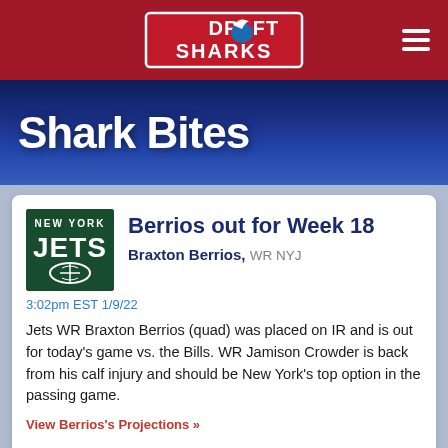[Figure (logo): Draft Sharks logo in navigation bar]
Shark Bites
Berrios out for Week 18
Braxton Berrios, WR NYJ
3:02pm EST 1/9/22
Jets WR Braxton Berrios (quad) was placed on IR and is out for today's game vs. the Bills. WR Jamison Crowder is back from his calf injury and should be New York's top option in the passing game.
View Berrios's Projections » View all Braxton Berrios Shark Bites »